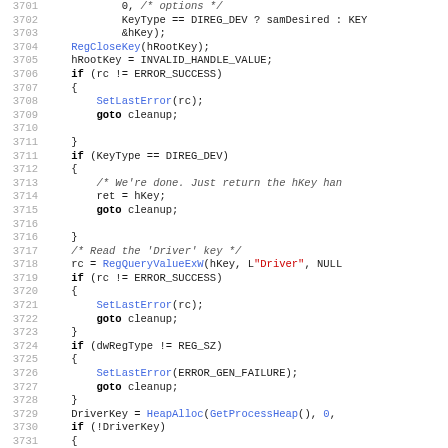[Figure (screenshot): Source code listing in C/C++ showing registry key operations, lines 3701-3732, with syntax highlighting: keywords in bold black, function names in blue, string literals in red, comments in italic gray, line numbers in light gray.]